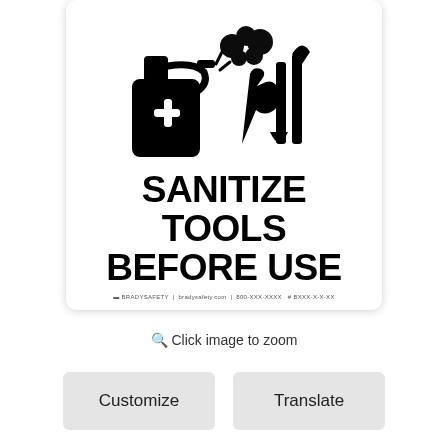[Figure (illustration): A safety sign showing a spray sanitizer bottle with a plus/cross symbol, and icons of tools (wrench, shovel, knife) with a spray cloud. Bold text reads SANITIZE TOOLS BEFORE USE. Small footer with logo and website/phone.]
Click image to zoom
Customize
Translate